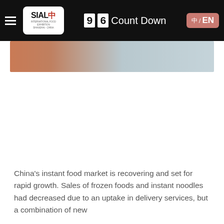SIAL | 96 Count Down | 中/EN
[Figure (photo): Partial photograph of food-related subject, cropped at top of page, showing warm orange and light blue-grey tones.]
China's instant food market is recovering and set for rapid growth. Sales of frozen foods and instant noodles had decreased due to an uptake in delivery services, but a combination of new